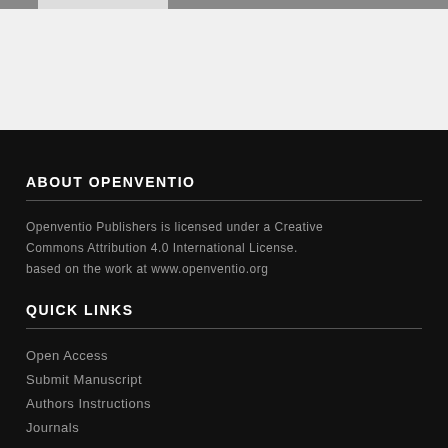ABOUT OPENVENTIO
Openventio Publishers is licensed under a Creative Commons Attribution 4.0 International License. based on the work at www.openventio.org
QUICK LINKS
Open Access
Submit Manuscript
Authors Instructions
Journals